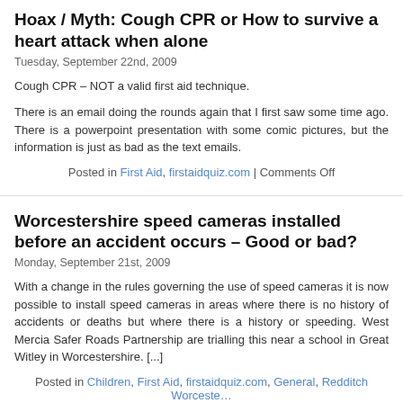Hoax / Myth: Cough CPR or How to survive a heart attack when alone
Tuesday, September 22nd, 2009
Cough CPR – NOT a valid first aid technique.
There is an email doing the rounds again that I first saw some time ago. There is a powerpoint presentation with some comic pictures, but the information is just as bad as the text emails.
Posted in First Aid, firstaidquiz.com | Comments Off
Worcestershire speed cameras installed before an accident occurs – Good or bad?
Monday, September 21st, 2009
With a change in the rules governing the use of speed cameras it is now possible to install speed cameras in areas where there is no history of accidents or deaths but where there is a history or speeding. West Mercia Safer Roads Partnership are trialling this near a school in Great Witley in Worcestershire. [...]
Posted in Children, First Aid, firstaidquiz.com, General, Redditch Worcestershire, Comments Off